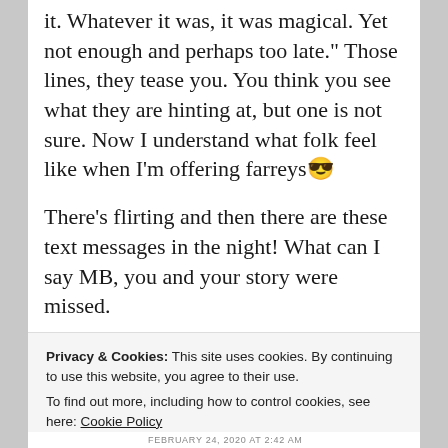it. Whatever it was, it was magical. Yet not enough and perhaps too late." Those lines, they tease you. You think you see what they are hinting at, but one is not sure. Now I understand what folk feel like when I'm offering farreys😬
There's flirting and then there are these text messages in the night! What can I say MB, you and your story were missed.
★ Liked by 6 people
Privacy & Cookies: This site uses cookies. By continuing to use this website, you agree to their use.
To find out more, including how to control cookies, see here: Cookie Policy
Close and accept
FEBRUARY 24, 2020 AT 2:42 AM